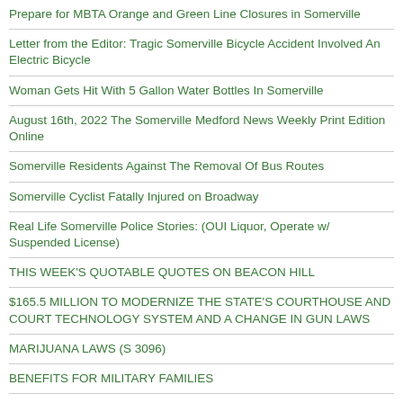Prepare for MBTA Orange and Green Line Closures in Somerville
Letter from the Editor: Tragic Somerville Bicycle Accident Involved An Electric Bicycle
Woman Gets Hit With 5 Gallon Water Bottles In Somerville
August 16th, 2022 The Somerville Medford News Weekly Print Edition Online
Somerville Residents Against The Removal Of Bus Routes
Somerville Cyclist Fatally Injured on Broadway
Real Life Somerville Police Stories: (OUI Liquor, Operate w/ Suspended License)
THIS WEEK'S QUOTABLE QUOTES ON BEACON HILL
$165.5 MILLION TO MODERNIZE THE STATE'S COURTHOUSE AND COURT TECHNOLOGY SYSTEM AND A CHANGE IN GUN LAWS
MARIJUANA LAWS (S 3096)
BENEFITS FOR MILITARY FAMILIES